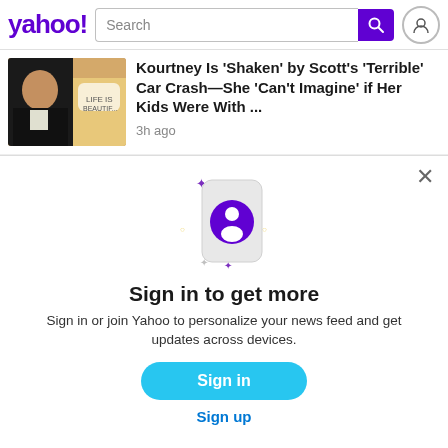yahoo! Search
Kourtney Is 'Shaken' by Scott's 'Terrible' Car Crash—She 'Can't Imagine' if Her Kids Were With ... 3h ago
[Figure (illustration): Yahoo sign-in prompt illustration: a smartphone icon with a purple user avatar, surrounded by sparkle/star decorations]
Sign in to get more
Sign in or join Yahoo to personalize your news feed and get updates across devices.
Sign in
Sign up